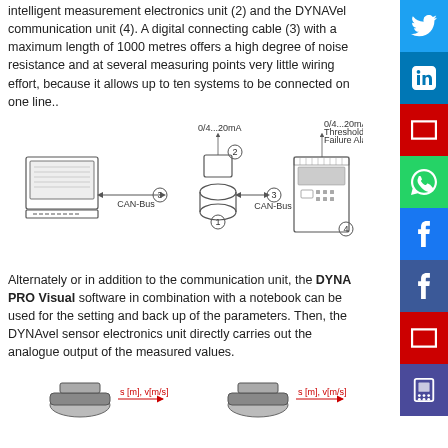intelligent measurement electronics unit (2) and the DYNAVel communication unit (4). A digital connecting cable (3) with a maximum length of 1000 metres offers a high degree of noise resistance and at several measuring points very little wiring effort, because it allows up to ten systems to be connected on one line..
[Figure (engineering-diagram): System diagram showing a laptop connected via CAN-Bus (3) to a sensor unit (1) with measurement electronics (2) outputting 0/4...20mA, and connected via CAN-Bus (3) to a communication unit (4) outputting 0/4...20mA, Thresholds, Failure Alarm]
Alternately or in addition to the communication unit, the DYNA PRO Visual software in combination with a notebook can be used for the setting and back up of the parameters. Then, the DYNAvel sensor electronics unit directly carries out the analogue output of the measured values.
[Figure (engineering-diagram): Two sensor diagrams at bottom showing s [m], v[m/s] measurement arrows]